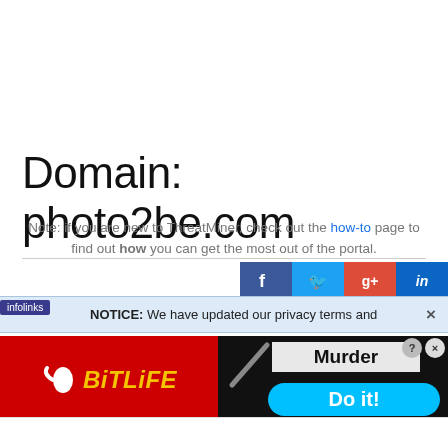Domain: photo2be.com
Note: if you are new to ThreatMiner, check out the how-to page to find out how you can get the most out of the portal.
[Figure (screenshot): Social sharing buttons: Facebook, Twitter, Google+, LinkedIn]
NOTICE: We have updated our privacy terms and
[Figure (screenshot): Advertisement banner: BitLife on left (red background with sperm logo and yellow italic text), Murder/Do it! game ad on right (black background with knife graphic, grey Murder text, blue Do it! button). Close and question mark buttons visible.]